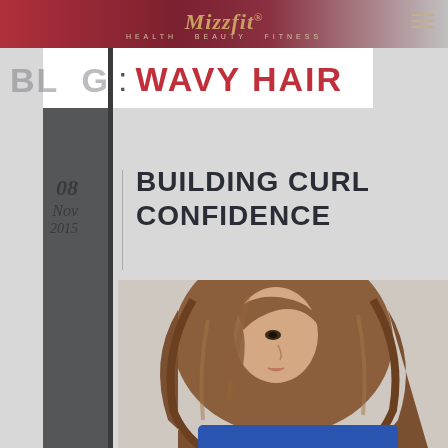Mizzfit — HEALTH · BEAUTY · FITNESS
BLOG : WAVY HAIR
08 Nov 2015
BUILDING CURL CONFIDENCE
[Figure (photo): Woman with long wavy brown hair, wearing a blue top, hair partially covering her face]